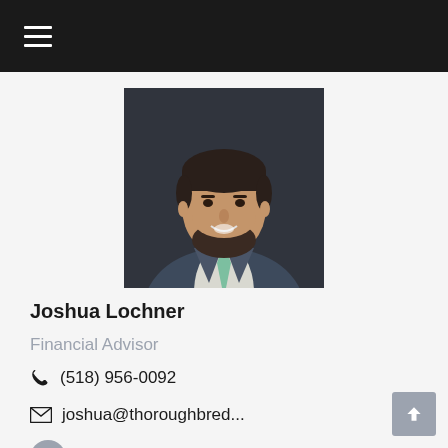Navigation menu header bar
[Figure (photo): Professional headshot of Joshua Lochner, a man with dark beard, wearing a dark blue suit and light green tie, photographed against a dark background.]
Joshua Lochner
Financial Advisor
(518) 956-0092
joshua@thoroughbred...
[Figure (logo): LinkedIn logo icon in a grey circle]